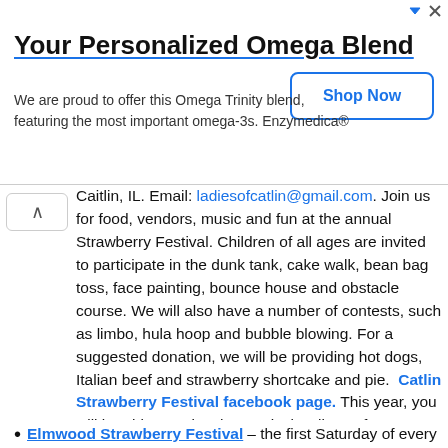[Figure (infographic): Advertisement banner: 'Your Personalized Omega Blend' with body text 'We are proud to offer this Omega Trinity blend, featuring the most important omega-3s. Enzymedica®' and a 'Shop Now' button. Top right has ad icon arrows and X close button.]
Caitlin, IL. Email: ladiesofcatlin@gmail.com. Join us for food, vendors, music and fun at the annual Strawberry Festival. Children of all ages are invited to participate in the dunk tank, cake walk, bean bag toss, face painting, bounce house and obstacle course. We will also have a number of contests, such as limbo, hula hoop and bubble blowing. For a suggested donation, we will be providing hot dogs, Italian beef and strawberry shortcake and pie.  Catlin Strawberry Festival facebook page. This year, you will be able to enjoy the musical stylings of Logan Kirby from 10 to 11 am, Zach and Perry Dable from 11:15 to 12:15 pm and Live Thru Wednesday from 12:30 to 1:30 pm.  Car enthusiasts can enjoy an antique car show brought to us by Illiana Automobile Club from 10 to 2.  Afterwards, come join in the fun at the American Legion for drinks, live music and food from High on the Hog. Live music includes: Dixie Flyer Band from 3 to 5pm and House of Cards from 7 to 10pm.
Elmwood Strawberry Festival – the first Saturday of every...